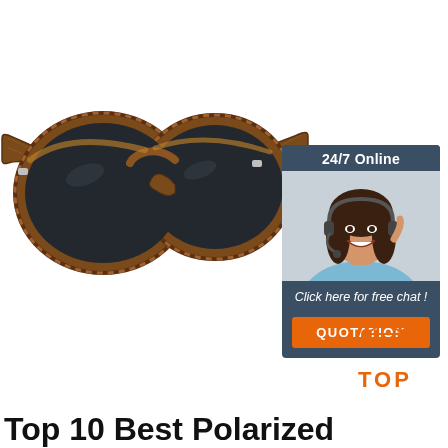[Figure (photo): Brown tortoiseshell round-frame polarized sunglasses with dark lenses, photographed at an angle on white background]
[Figure (infographic): Customer service chat widget: '24/7 Online' header in dark teal, photo of smiling female agent with headset, 'Click here for free chat!' text, orange QUOTATION button]
[Figure (logo): TOP logo with orange triangle/arrow dots above the word TOP in orange bold letters]
Top 10 Best Polarized